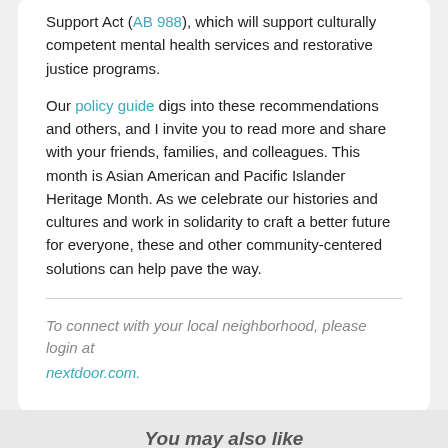Support Act (AB 988), which will support culturally competent mental health services and restorative justice programs.
Our policy guide digs into these recommendations and others, and I invite you to read more and share with your friends, families, and colleagues. This month is Asian American and Pacific Islander Heritage Month. As we celebrate our histories and cultures and work in solidarity to craft a better future for everyone, these and other community-centered solutions can help pave the way.
To connect with your local neighborhood, please login at nextdoor.com.
You may also like
How to Share This Month in your neighborhood